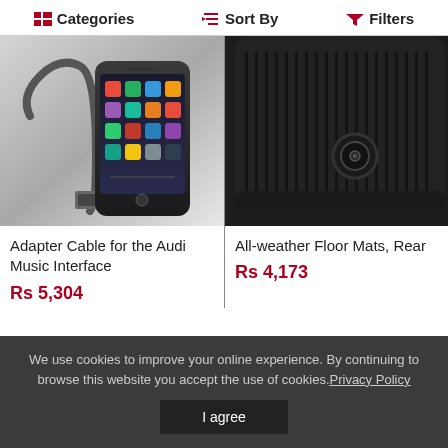Categories   Sort By   Filters
[Figure (photo): Adapter cable connected to an iPhone, showing the cable plugged into the Lightning port with the phone displaying its home screen with app icons]
[Figure (photo): Close-up of a black rubber all-weather floor mat with ridged texture and a circular retaining clip/stud]
Adapter Cable for the Audi Music Interface
Rs 5,304
All-weather Floor Mats, Rear
Rs 4,173
We use cookies to improve your online experience. By continuing to browse this website you accept the use of cookies. Privacy Policy
I agree